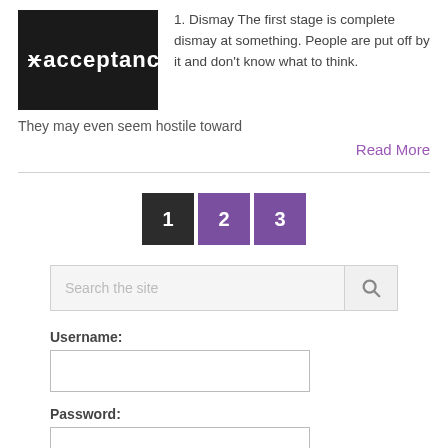[Figure (photo): Chalkboard with strikethrough text and the word 'acceptance' written in white chalk on a dark background.]
1. Dismay The first stage is complete dismay at something. People are put off by it and don't know what to think. They may even seem hostile toward
Read More
1 2 3 (pagination buttons)
Search the site
Username:
Password: